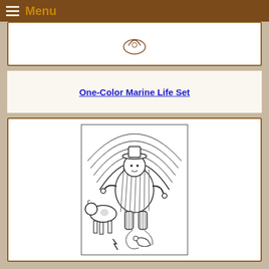≡ Menu
[Figure (illustration): Small decorative illustration at top, partially visible, appears to be a curled animal or fish motif in brown/sepia tones]
One-Color Marine Life Set
[Figure (illustration): Black and white line drawing in a rectangular frame showing a stout figure in striped clothing and hat standing next to a cow or donkey, with curved rainbow-like lines in the background and a small animal (possibly a dog or lizard) at the bottom]